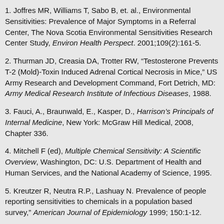1. Joffres MR, Williams T, Sabo B, et. al., Environmental Sensitivities: Prevalence of Major Symptoms in a Referral Center, The Nova Scotia Environmental Sensitivities Research Center Study, Environ Health Perspect. 2001;109(2):161-5.
2. Thurman JD, Creasia DA, Trotter RW, “Testosterone Prevents T-2 (Mold)-Toxin Induced Adrenal Cortical Necrosis in Mice,” US Army Research and Development Command, Fort Detrich, MD: Army Medical Research Institute of Infectious Diseases, 1988.
3. Fauci, A., Braunwald, E., Kasper, D., Harrison’s Principals of Internal Medicine, New York: McGraw Hill Medical, 2008, Chapter 336.
4. Mitchell F (ed), Multiple Chemical Sensitivity: A Scientific Overview, Washington, DC: U.S. Department of Health and Human Services, and the National Academy of Science, 1995.
5. Kreutzer R, Neutra R.P., Lashuay N. Prevalence of people reporting sensitivities to chemicals in a population based survey,” American Journal of Epidemiology 1999; 150:1-12.
6. Caress S, Steinemann AC. The prevalence of multiple chemical sensitivities in a population-based study. American Journal of Public...